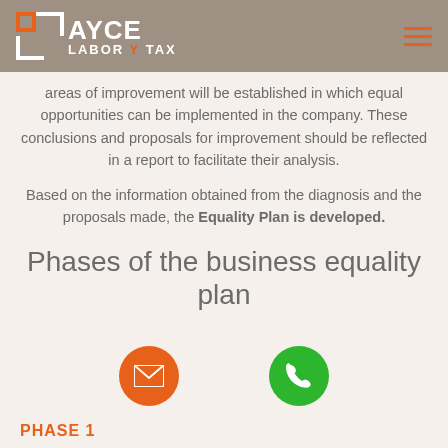AYCE LABOR TAX
areas of improvement will be established in which equal opportunities can be implemented in the company. These conclusions and proposals for improvement should be reflected in a report to facilitate their analysis.
Based on the information obtained from the diagnosis and the proposals made, the Equality Plan is developed.
Phases of the business equality plan
[Figure (infographic): Two circular floating action buttons: orange email button and green phone button]
PHASE 1